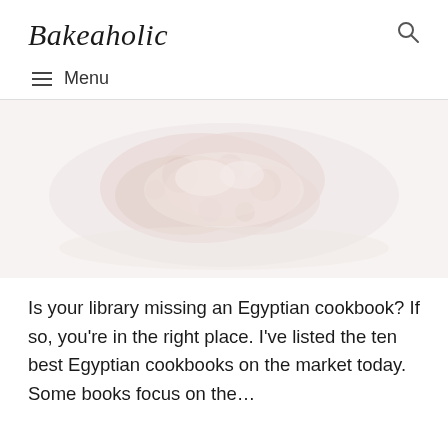Bakeaholic
[Figure (photo): Faded/washed-out photo of an Egyptian food dish, likely a salad or mixed vegetable dish, viewed from above on a white plate against a light background.]
Is your library missing an Egyptian cookbook? If so, you’re in the right place. I’ve listed the ten best Egyptian cookbooks on the market today. Some books focus on the…